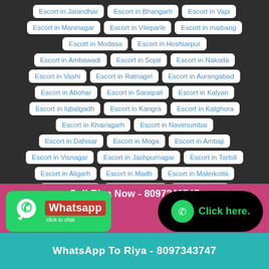Escort in Jalandhar
Escort in Bhangarh
Escort in Vapi
Escort in Maninagar
Escort in Vileparle
Escort in maibang
Escort in Modasa
Escort in Hoshiarpur
Escort in Ambawadi
Escort in Sojat
Escort in Nakoda
Escort in Vashi
Escort in Ratnagiri
Escort in Aurangabad
Escort in Abohar
Escort in Saraipali
Escort in Kalyan
Escort in Iqbalgadh
Escort in Kangra
Escort in Katghora
Escort in Khairagarh
Escort in Navimumbai
Escort in Dahisar
Escort in Moga
Escort in Ambaji
Escort in Visnagar
Escort in Jashpurnagar
Escort in Tartoli
Escort in Aligarh
Escort in Madh
Escort in Malerkotla
Escort in Nabha
Escort in Kanpur
Escort in Nepal
Escort in Sangrur
Escort in Kanker
Escort in Gurgaon
Call Riya Now - 8097343747
WhatsApp To Riya - 8097343747